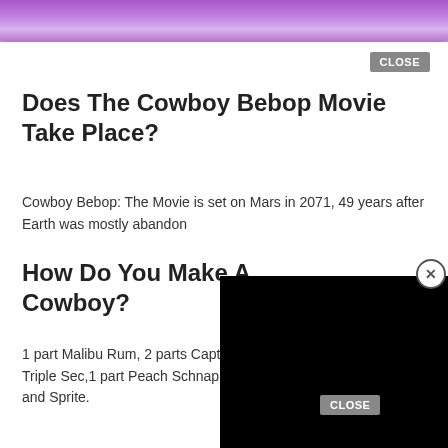[Figure (photo): Purple/violet colored object on wooden surface, partially cropped at top of page]
CLOSE
Does The Cowboy Bebop Movie Take Place?
Cowboy Bebop: The Movie is set on Mars in 2071, 49 years after Earth was mostly abandon
How Do You Make A Cowboy?
[Figure (screenshot): Black video player overlay]
1 part Malibu Rum, 2 parts Captain Morgan Spiced Rum, 1 part Triple Sec,1 part Peach Schnapps. Cranbe Pineapple, OJ, and Sprite.
CLOSE